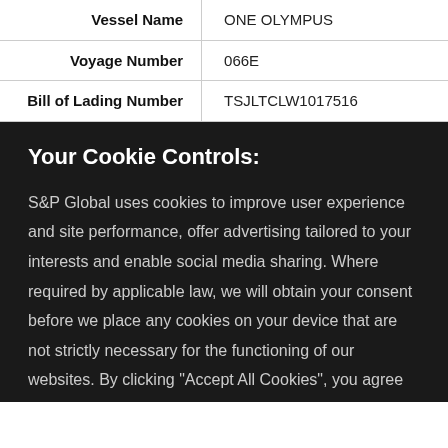| Field | Value |
| --- | --- |
| Vessel Name | ONE OLYMPUS |
| Voyage Number | 066E |
| Bill of Lading Number | TSJLTCLW1017516 |
Your Cookie Controls:
S&P Global uses cookies to improve user experience and site performance, offer advertising tailored to your interests and enable social media sharing. Where required by applicable law, we will obtain your consent before we place any cookies on your device that are not strictly necessary for the functioning of our websites. By clicking "Accept All Cookies", you agree to our use of cookies. Learn about our cookies and how to